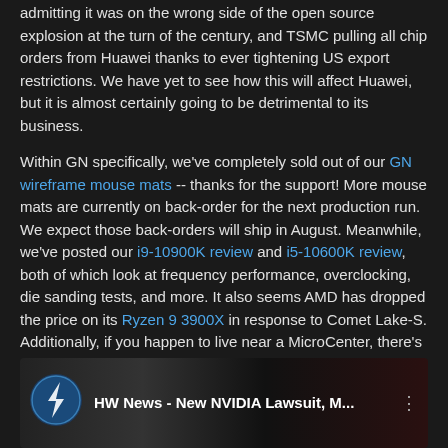admitting it was on the wrong side of the open source explosion at the turn of the century, and TSMC pulling all chip orders from Huawei thanks to ever tightening US export restrictions. We have yet to see how this will affect Huawei, but it is almost certainly going to be detrimental to its business.
Within GN specifically, we've completely sold out of our GN wireframe mouse mats -- thanks for the support! More mouse mats are currently on back-order for the next production run. We expect those back-orders will ship in August. Meanwhile, we've posted our i9-10900K review and i5-10600K review, both of which look at frequency performance, overclocking, die sanding tests, and more. It also seems AMD has dropped the price on its Ryzen 9 3900X in response to Comet Lake-S. Additionally, if you happen to live near a MicroCenter, there's an in-store promotion that will get you the Ryzen 9 3900X for $380.
Follow below for the video embed and article.
[Figure (screenshot): Video thumbnail for 'HW News - New NVIDIA Lawsuit, M...' showing a Gamers Nexus logo icon and a person visible in the background]